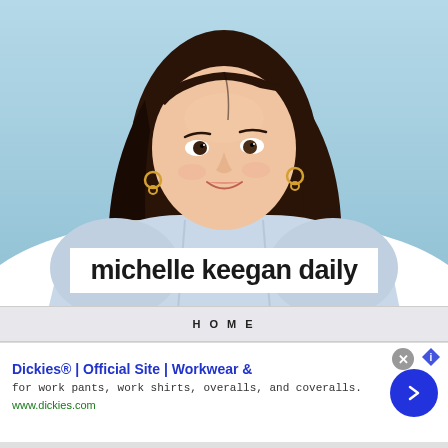[Figure (photo): Hero image of a woman with long dark hair, wearing a light blue denim ruffled blouse, smiling, against a light blue background. White elliptical blob overlaps bottom of image.]
michelle keegan daily
HOME
[Figure (infographic): Advertisement banner: Dickies® | Official Site | Workwear & — for work pants, work shirts, overalls, and coveralls. www.dickies.com — with a blue circular arrow button on the right, a grey close (x) button and a blue info icon at top right.]